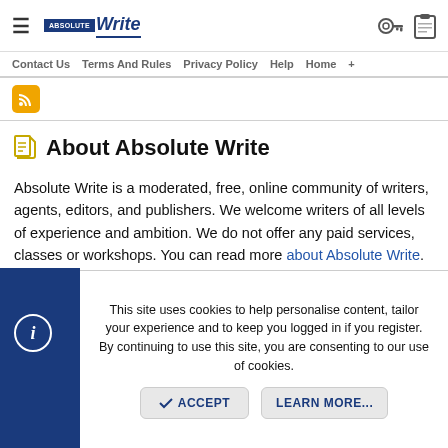≡  Absolute Write  🔑  📋
Contact Us  Terms And Rules  Privacy Policy  Help  Home  +
[Figure (logo): RSS feed orange button icon]
About Absolute Write
Absolute Write is a moderated, free, online community of writers, agents, editors, and publishers. We welcome writers of all levels of experience and ambition. We do not offer any paid services, classes or workshops. You can read more about Absolute Write.
This site uses cookies to help personalise content, tailor your experience and to keep you logged in if you register. By continuing to use this site, you are consenting to our use of cookies.